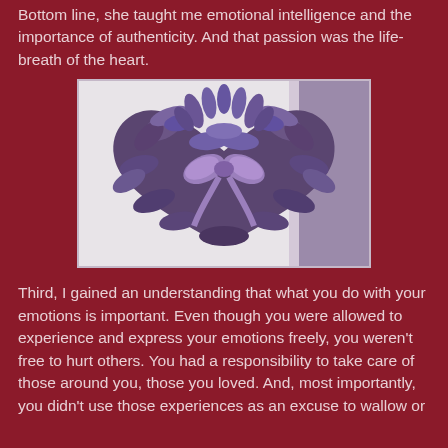Bottom line, she taught me emotional intelligence and the importance of authenticity. And that passion was the life-breath of the heart.
[Figure (photo): A heart-shaped wreath made of dried lavender flowers with a purple ribbon bow tied at the center, hanging against a white door with a purple panel visible on the right side.]
Third, I gained an understanding that what you do with your emotions is important. Even though you were allowed to experience and express your emotions freely, you weren't free to hurt others. You had a responsibility to take care of those around you, those you loved. And, most importantly, you didn't use those experiences as an excuse to wallow or